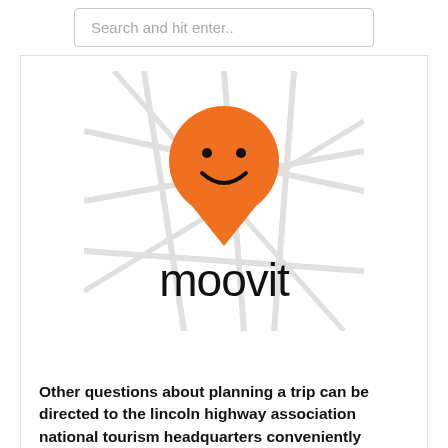Search and hit enter..
[Figure (logo): Moovit logo: orange map pin with smiley face above the word 'moovit' in black, on a white background with faint gray road map lines]
Other questions about planning a trip can be directed to the lincoln highway association national tourism headquarters conveniently